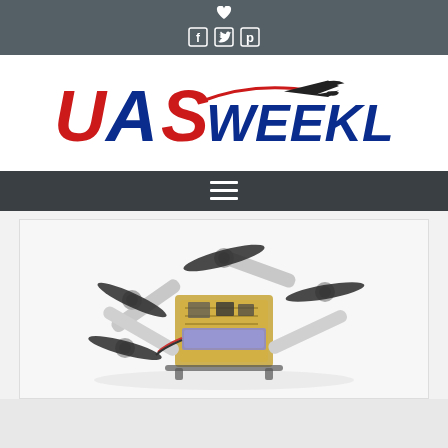UAS Weekly social bar with heart icon and social media icons (Facebook, Twitter, Pinterest)
[Figure (logo): UAS WEEKLY.COM logo with red and blue lettering and drone silhouette]
[Figure (other): Navigation bar with hamburger menu icon]
[Figure (photo): Small quadcopter drone with four propellers and electronic components visible on a white background]